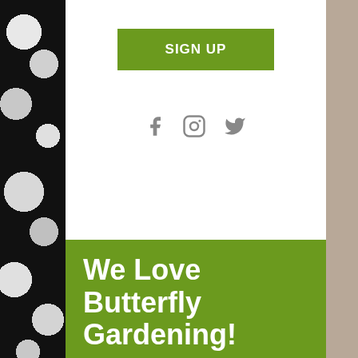[Figure (photo): Left side decorative strip with black and white abstract animal print pattern]
[Figure (photo): Right side decorative strip in tan/beige color]
SIGN UP
[Figure (illustration): Social media icons: Facebook (f), Instagram (camera), Twitter (bird) in gray]
We Love Butterfly Gardening!
Hi, we're so glad you're here! I'm Kelly Ballard, owner of Joyful Butterfly.